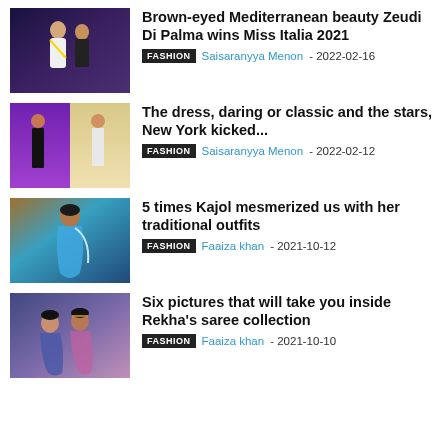[Figure (photo): Thumbnail image for Miss Italia 2021 article showing a woman with a sash on stage]
Brown-eyed Mediterranean beauty Zeudi Di Palma wins Miss Italia 2021
FASHION   Saisaranyya Menon - 2022-02-16
[Figure (photo): Thumbnail image showing two fashion runway models]
The dress, daring or classic and the stars, New York kicked...
FASHION   Saisaranyya Menon - 2022-02-12
[Figure (photo): Thumbnail image of Kajol in traditional blue saree]
5 times Kajol mesmerized us with her traditional outfits
FASHION   Faaiza khan - 2021-10-12
[Figure (photo): Thumbnail image showing two women, one in traditional Indian attire]
Six pictures that will take you inside Rekha's saree collection
FASHION   Faaiza khan - 2021-10-10